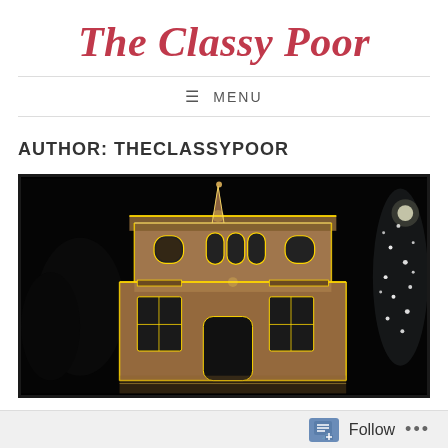The Classy Poor
≡ MENU
AUTHOR: THECLASSYPOOR
[Figure (photo): Night photograph of a large house decorated with warm white Christmas lights outlining the roofline, windows, and architectural features. A brightly lit tree is visible on the right. Dark night sky background.]
Follow